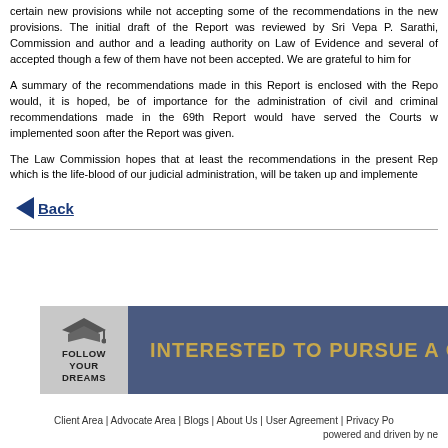certain new provisions while not accepting some of the recommendations in the new provisions. The initial draft of the Report was reviewed by Sri Vepa P. Sarathi, Commission and author and a leading authority on Law of Evidence and several of accepted though a few of them have not been accepted. We are grateful to him for
A summary of the recommendations made in this Report is enclosed with the Repo would, it is hoped, be of importance for the administration of civil and criminal recommendations made in the 69th Report would have served the Courts w implemented soon after the Report was given.
The Law Commission hopes that at least the recommendations in the present Rep which is the life-blood of our judicial administration, will be taken up and implemente
Back
[Figure (illustration): Banner with dark blue background showing a mortarboard graduation cap icon on light grey box with text 'FOLLOW YOUR DREAMS', and golden-yellow bold text reading 'INTERESTED TO PURSUE A C']
Client Area | Advocate Area | Blogs | About Us | User Agreement | Privacy Po powered and driven by ne